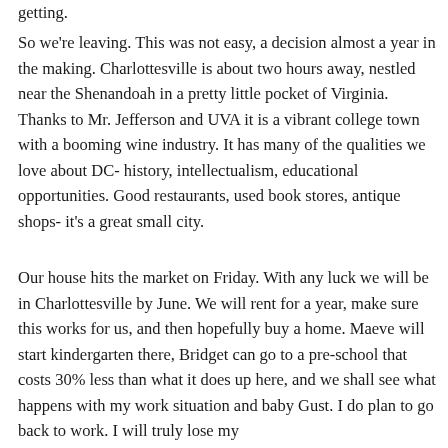getting.
So we're leaving. This was not easy, a decision almost a year in the making. Charlottesville is about two hours away, nestled near the Shenandoah in a pretty little pocket of Virginia. Thanks to Mr. Jefferson and UVA it is a vibrant college town with a booming wine industry. It has many of the qualities we love about DC- history, intellectualism, educational opportunities. Good restaurants, used book stores, antique shops- it's a great small city.
Our house hits the market on Friday. With any luck we will be in Charlottesville by June. We will rent for a year, make sure this works for us, and then hopefully buy a home. Maeve will start kindergarten there, Bridget can go to a pre-school that costs 30% less than what it does up here, and we shall see what happens with my work situation and baby Gust. I do plan to go back to work. I will truly lose my